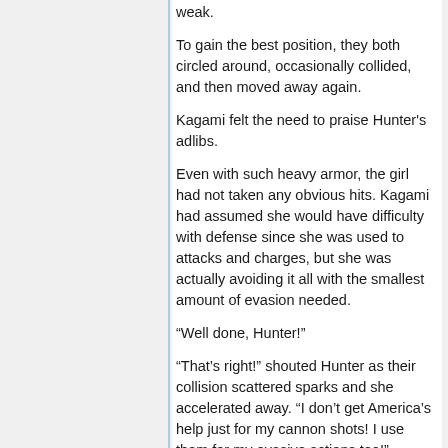weak.
To gain the best position, they both circled around, occasionally collided, and then moved away again.
Kagami felt the need to praise Hunter's adlibs.
Even with such heavy armor, the girl had not taken any obvious hits. Kagami had assumed she would have difficulty with defense since she was used to attacks and charges, but she was actually avoiding it all with the smallest amount of evasion needed.
“Well done, Hunter!”
“That’s right!” shouted Hunter as their collision scattered sparks and she accelerated away. “I don’t get America’s help just for my cannon shots! I use them for my evasive actions too!”